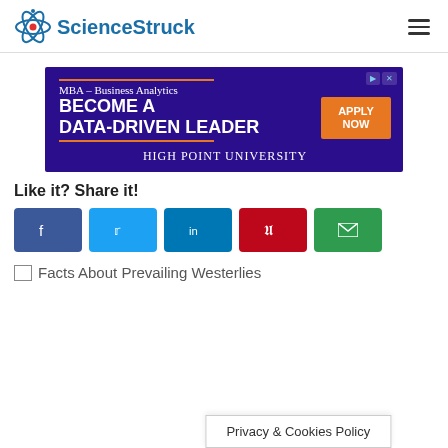ScienceStruck
[Figure (infographic): MBA – Business Analytics advertisement banner for High Point University. Purple background with text: MBA – Business Analytics, BECOME A DATA-DRIVEN LEADER, APPLY NOW button, HIGH POINT UNIVERSITY.]
Like it? Share it!
[Figure (infographic): Social share buttons: Facebook (dark blue), Twitter (light blue), LinkedIn (blue), Pinterest (red), Email (green)]
[Figure (photo): Broken image placeholder with alt text: Facts About Prevailing Westerlies]
Privacy & Cookies Policy